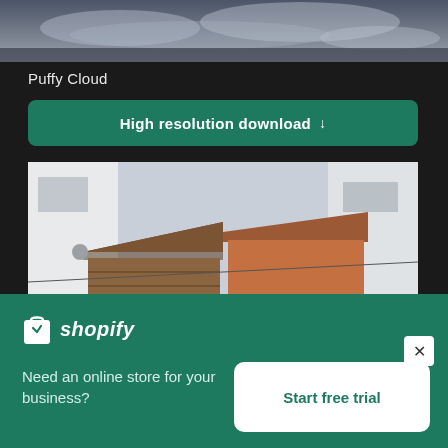[Figure (photo): Top strip showing a sky/cloud scene with dark blue-grey tones]
Puffy Cloud
High resolution download ↓
[Figure (photo): Two old Japanese-style wooden buildings crammed between modern buildings, one brown-wood and one terracotta-orange, viewed from below]
[Figure (infographic): Shopify advertisement banner with logo, tagline 'Need an online store for your business?' and a 'Start free trial' button]